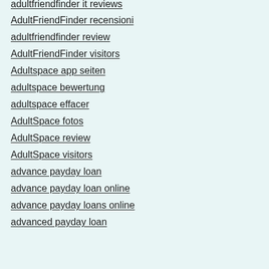adultfriendfinder it reviews
AdultFriendFinder recensioni
adultfriendfinder review
AdultFriendFinder visitors
Adultspace app seiten
adultspace bewertung
adultspace effacer
AdultSpace fotos
AdultSpace review
AdultSpace visitors
advance payday loan
advance payday loan online
advance payday loans online
advanced payday loan